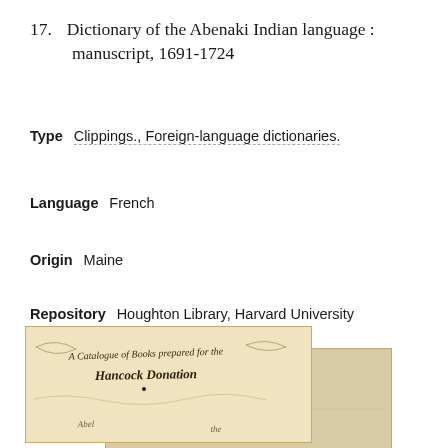17.  Dictionary of the Abenaki Indian language : manuscript, 1691-1724
Type   Clippings., Foreign-language dictionaries.
Language   French
Origin   Maine
Repository   Houghton Library, Harvard University
Bookmark   ○
[Figure (photo): Photograph of historical manuscript pages with ornate calligraphic script reading 'A Catalogue of Books prepared for the Hancock Donation' and other partially visible text on aged paper.]